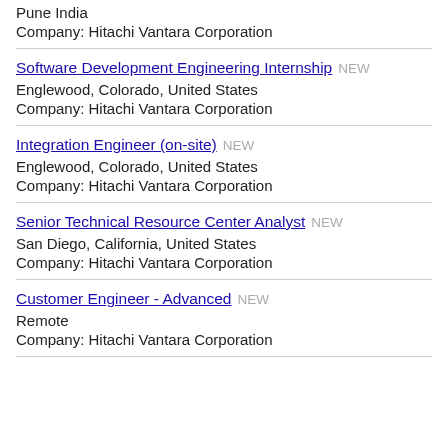Pune India
Company: Hitachi Vantara Corporation
Software Development Engineering Internship NEW
Englewood, Colorado, United States
Company: Hitachi Vantara Corporation
Integration Engineer (on-site) NEW
Englewood, Colorado, United States
Company: Hitachi Vantara Corporation
Senior Technical Resource Center Analyst NEW
San Diego, California, United States
Company: Hitachi Vantara Corporation
Customer Engineer - Advanced NEW
Remote
Company: Hitachi Vantara Corporation